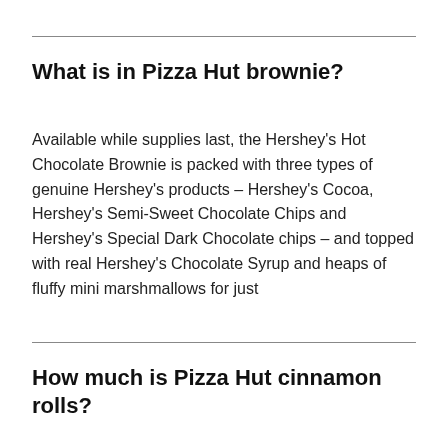What is in Pizza Hut brownie?
Available while supplies last, the Hershey's Hot Chocolate Brownie is packed with three types of genuine Hershey's products – Hershey's Cocoa, Hershey's Semi-Sweet Chocolate Chips and Hershey's Special Dark Chocolate chips – and topped with real Hershey's Chocolate Syrup and heaps of fluffy mini marshmallows for just
How much is Pizza Hut cinnamon rolls?